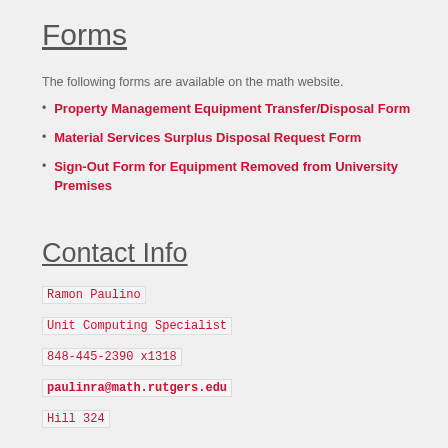Forms
The following forms are available on the math website.
Property Management Equipment Transfer/Disposal Form
Material Services Surplus Disposal Request Form
Sign-Out Form for Equipment Removed from University Premises
Contact Info
Ramon Paulino
Unit Computing Specialist
848-445-2390 x1318
paulinra@math.rutgers.edu
Hill 324